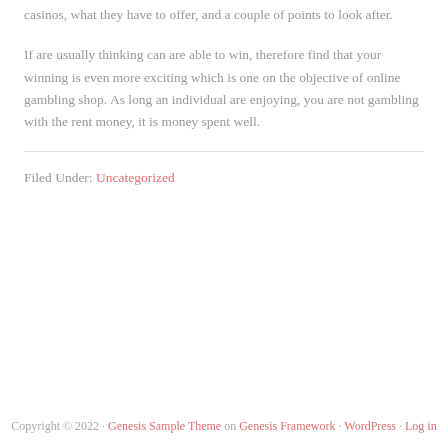casinos, what they have to offer, and a couple of points to look after.
If are usually thinking can are able to win, therefore find that your winning is even more exciting which is one on the objective of online gambling shop. As long an individual are enjoying, you are not gambling with the rent money, it is money spent well.
Filed Under: Uncategorized
Copyright © 2022 · Genesis Sample Theme on Genesis Framework · WordPress · Log in